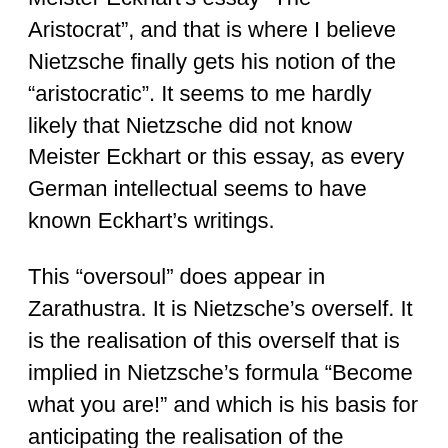Meister Eckhart's essay “The Aristocrat”, and that is where I believe Nietzsche finally gets his notion of the “aristocratic”. It seems to me hardly likely that Nietzsche did not know Meister Eckhart or this essay, as every German intellectual seems to have known Eckhart's writings.
This “oversoul” does appear in Zarathustra. It is Nietzsche's overself. It is the realisation of this overself that is implied in Nietzsche's formula “Become what you are!” and which is his basis for anticipating the realisation of the transhuman or overman — the fully realised, fully actualised human being. Those who interpret Nietzsche as “self-aggrandising” have really missed the point, as it contradicts Nietzsche's contempt for